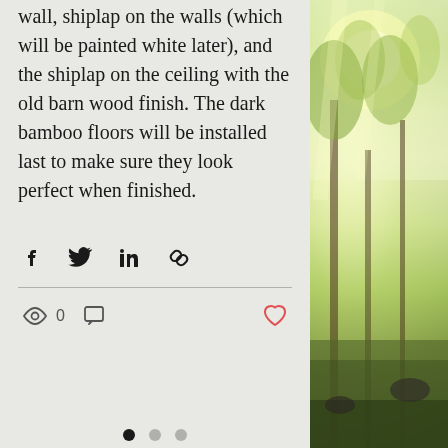wall, shiplap on the walls (which will be painted white later), and the shiplap on the ceiling with the old barn wood finish. The dark bamboo floors will be installed last to make sure they look perfect when finished.
[Figure (photo): Outdoor photo showing sunlit greenery, trees, and grass, positioned on the right side of the page]